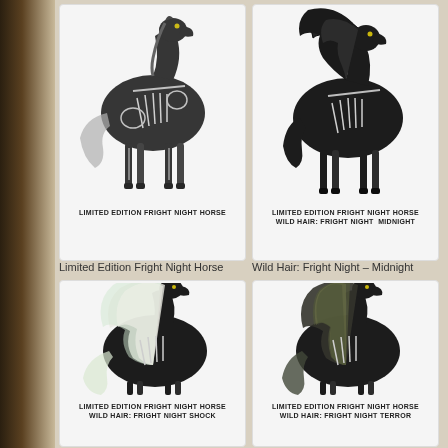[Figure (illustration): Limited Edition Fright Night Horse - skeleton horse illustration, side view, black and white with gray tail]
LIMITED EDITION FRIGHT NIGHT HORSE
Limited Edition Fright Night Horse
[Figure (illustration): Limited Edition Fright Night Horse Wild Hair: Fright Night Midnight - skeleton horse with large black mane, side view]
LIMITED EDITION FRIGHT NIGHT HORSE
WILD HAIR: FRIGHT NIGHT  MIDNIGHT
Wild Hair: Fright Night – Midnight
[Figure (illustration): Limited Edition Fright Night Horse Wild Hair: Fright Night Shock - skeleton horse with long white/green flowing mane]
LIMITED EDITION FRIGHT NIGHT HORSE
WILD HAIR: FRIGHT NIGHT SHOCK
[Figure (illustration): Limited Edition Fright Night Horse Wild Hair: Fright Night Terror - skeleton horse with dark striped mane]
LIMITED EDITION FRIGHT NIGHT HORSE
WILD HAIR: FRIGHT NIGHT TERROR